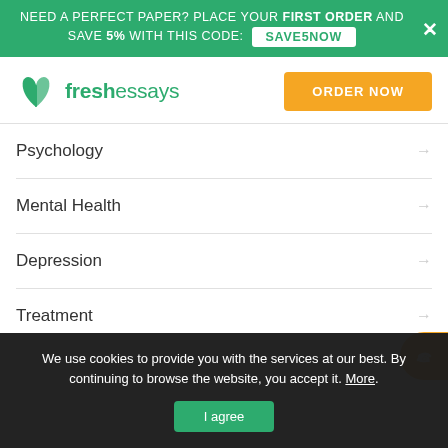NEED A PERFECT PAPER? PLACE YOUR FIRST ORDER AND SAVE 5% WITH THIS CODE: SAVE5NOW
[Figure (logo): FreshEssays logo with green open book icon and green text]
ORDER NOW
Psychology
Mental Health
Depression
Treatment
We use cookies to provide you with the services at our best. By continuing to browse the website, you accept it. More.
I agree